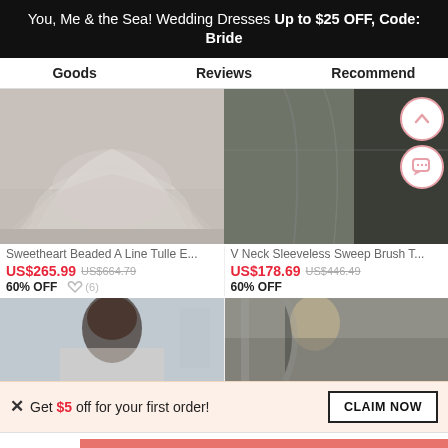You, Me & the Sea! Wedding Dresses Up to $25 OFF, Code: Bride
Goods   Reviews   Recommend
[Figure (photo): Product photo of white tulle wedding dress bottom]
[Figure (photo): Product photo of grey/dark sleeveless dress detail]
Sweetheart Beaded A Line Tulle E...
V Neck Sleeveless Sweep Brush T...
US$265.99  US$664.79
US$178.69  US$446.49
60% OFF
60% OFF
[Figure (photo): Product photo of woman with dark hair]
[Figure (photo): Product photo of woman on street]
Get $5 off for your first order!
CLAIM NOW
6  ADD TO BAG